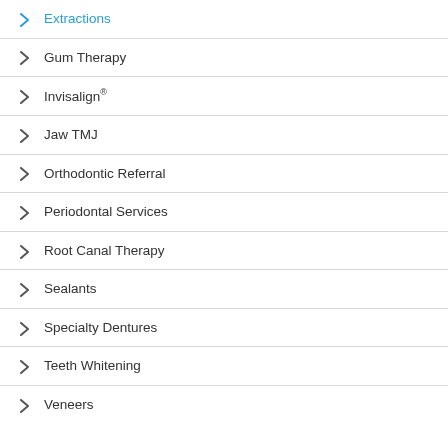Extractions
Gum Therapy
Invisalign®
Jaw TMJ
Orthodontic Referral
Periodontal Services
Root Canal Therapy
Sealants
Specialty Dentures
Teeth Whitening
Veneers